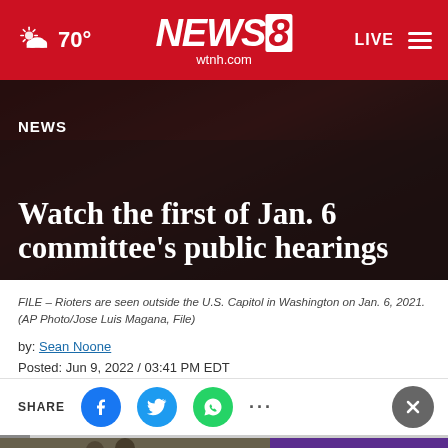70° NEWS8 wtnh.com LIVE
[Figure (screenshot): News article hero image showing crowd scene at U.S. Capitol with dark overlay, labeled NEWS with headline text]
NEWS
Watch the first of Jan. 6 committee's public hearings
FILE – Rioters are seen outside the U.S. Capitol in Washington on Jan. 6, 2021. (AP Photo/Jose Luis Magana, File)
by: Sean Noone
Posted: Jun 9, 2022 / 03:41 PM EDT
Updated: Jun 9, 2022 / 10:01 PM EDT
[Figure (screenshot): Share bar with Facebook, Twitter, WhatsApp icons and close button, plus partial video thumbnail at bottom]